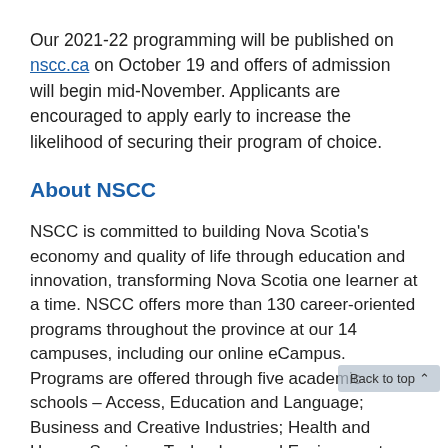Our 2021-22 programming will be published on nscc.ca on October 19 and offers of admission will begin mid-November. Applicants are encouraged to apply early to increase the likelihood of securing their program of choice.
About NSCC
NSCC is committed to building Nova Scotia's economy and quality of life through education and innovation, transforming Nova Scotia one learner at a time. NSCC offers more than 130 career-oriented programs throughout the province at our 14 campuses, including our online eCampus. Programs are offered through five academic schools – Access, Education and Language; Business and Creative Industries; Health and Human Services, Technology and Environment; Trades and Transportation – and reflect the labour market needs and opportunities in Nova Scotia. NSCC's primary goal: student success. An annual survey of College graduates shows that 90% are employed one year after graduation, most in their field of study, with 91% of those employed living and working in